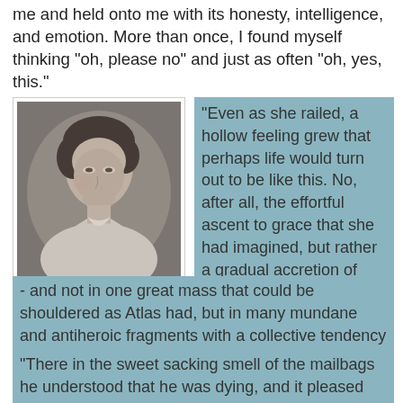me and held onto me with its honesty, intelligence, and emotion. More than once, I found myself thinking "oh, please no" and just as often "oh, yes, this."
[Figure (photo): Black and white portrait photograph of a young woman, identified as Cleave's grandmother, Mary]
Cleave's grandmother, Mary
"Even as she railed, a hollow feeling grew that perhaps life would turn out to be like this. No, after all, the effortful ascent to grace that she had imagined, but rather a gradual accretion of weight and complexity - and not in one great mass that could be shouldered as Atlas had, but in many mundane and antiheroic fragments with a collective tendency to drag one down to the mean."
"There in the sweet sacking smell of the mailbags he understood that he was dying, and it pleased him that he was going in the company of so many